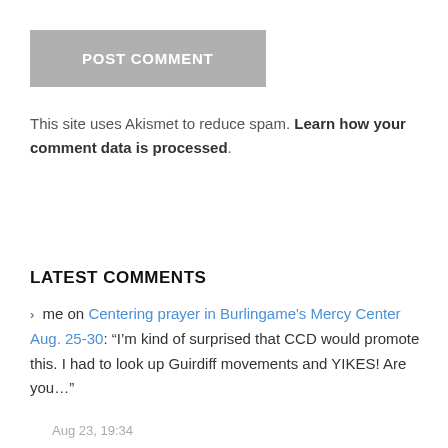[Figure (other): Gray POST COMMENT button]
This site uses Akismet to reduce spam. Learn how your comment data is processed.
LATEST COMMENTS
> me on Centering prayer in Burlingame's Mercy Center Aug. 25-30: “I’m kind of surprised that CCD would promote this. I had to look up Guirdiff movements and YIKES! Are you…”
Aug 23, 19:34